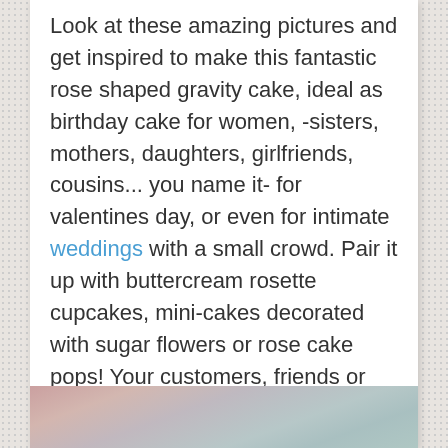Look at these amazing pictures and get inspired to make this fantastic rose shaped gravity cake, ideal as birthday cake for women, -sisters, mothers, daughters, girlfriends, cousins... you name it- for valentines day, or even for intimate weddings with a small crowd. Pair it up with buttercream rosette cupcakes, mini-cakes decorated with sugar flowers or rose cake pops! Your customers, friends or family will be swoon with awe!
[Figure (photo): Partial view of a cake or food item at the bottom of the page, partially cut off]